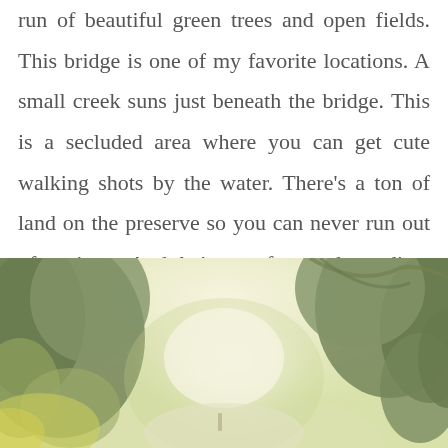run of beautiful green trees and open fields. This bridge is one of my favorite locations. A small creek suns just beneath the bridge. This is a secluded area where you can get cute walking shots by the water. There's a ton of land on the preserve so you can never run out of options. And let's not forget the radiant light!
[Figure (photo): Outdoor nature photograph showing green trees with bright, hazy, radiant light filtering through the branches, creating a soft and ethereal look. A path is visible in the middle distance.]